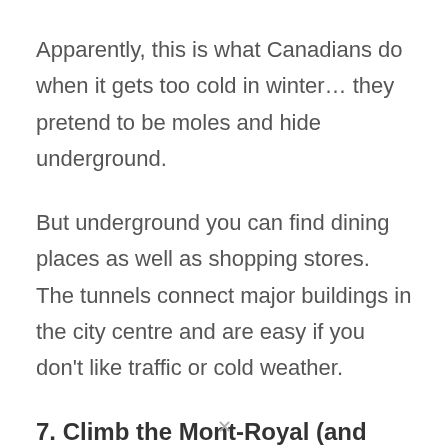Apparently, this is what Canadians do when it gets too cold in winter… they pretend to be moles and hide underground.
But underground you can find dining places as well as shopping stores. The tunnels connect major buildings in the city centre and are easy if you don't like traffic or cold weather.
7. Climb the Mont-Royal (and spot